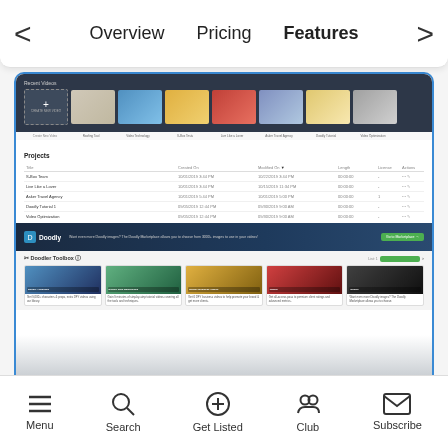< Overview   Pricing   Features >
[Figure (screenshot): Screenshot of Doodly video creation software dashboard showing Recent Videos thumbnails at top, a Projects table listing items like S-Box Team, Live Like a Lover, Asker Travel Agency, Doodly Tutorial 1, Video Optimization with columns for Created On, Modified On, Length, License, Actions. Below the table is a Doodly promotional banner. At the bottom is a Doodler Toolbox section with 5 card thumbnails labeled Doodly Advanced, Doodly Side Masterclass, Doodly Business Videos, Rating, Doodly.]
If you want to use your doodle or character, you can also do so. Just upload it in the gallery and then create your custom draw paths.
Menu   Search   Get Listed   Club   Subscribe